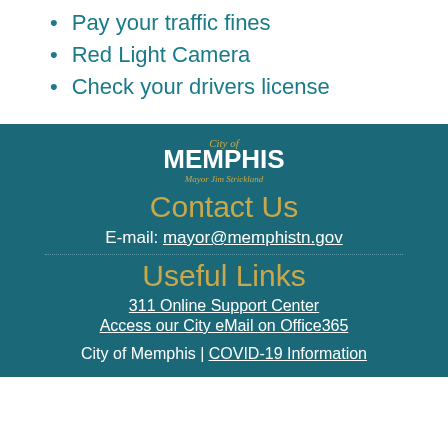Pay your traffic fines
Red Light Camera
Check your drivers license
[Figure (logo): City of Memphis logo with text 'City of MEMPHIS Mayor Jim Strickland']
Contact Us
E-mail: mayor@memphistn.gov
Useful Links
311 Online Support Center
Access our City eMail on Office365
City of Memphis | COVID-19 Information